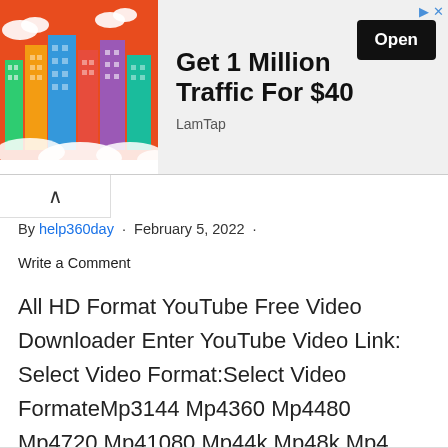[Figure (screenshot): Advertisement banner with city skyline illustration. Text reads: Get 1 Million Traffic For $40, LamTap, with an Open button.]
By help360day · February 5, 2022 ·
Write a Comment
All HD Format YouTube Free Video Downloader Enter YouTube Video Link: Select Video Format:Select Video FormateMp3144 Mp4360 Mp4480 Mp4720 Mp41080 Mp44k Mp48k Mp4 Download Click Here